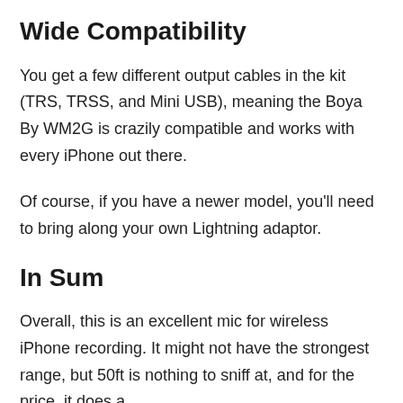Wide Compatibility
You get a few different output cables in the kit (TRS, TRSS, and Mini USB), meaning the Boya By WM2G is crazily compatible and works with every iPhone out there.
Of course, if you have a newer model, you'll need to bring along your own Lightning adaptor.
In Sum
Overall, this is an excellent mic for wireless iPhone recording. It might not have the strongest range, but 50ft is nothing to sniff at, and for the price, it does a